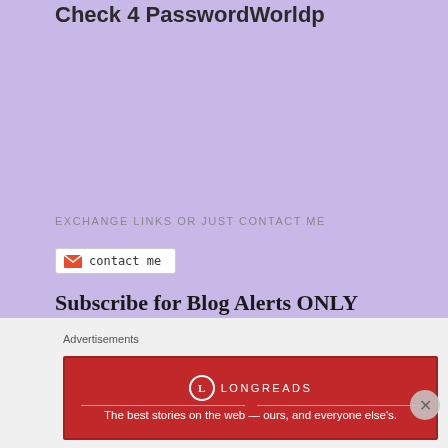Check 4 PasswordWorldp
EXCHANGE LINKS OR JUST CONTACT ME
[Figure (screenshot): Contact me button with orange mail icon and text 'contact me' in monospace font]
Subscribe for Blog Alerts ONLY
[Figure (screenshot): Purple gradient Subscribe! button with cursive script text]
Receive Offers, News & Discounts 1st
Advertisements
[Figure (screenshot): Longreads advertisement banner: red background with Longreads logo and tagline 'The best stories on the web — ours, and everyone else's.']